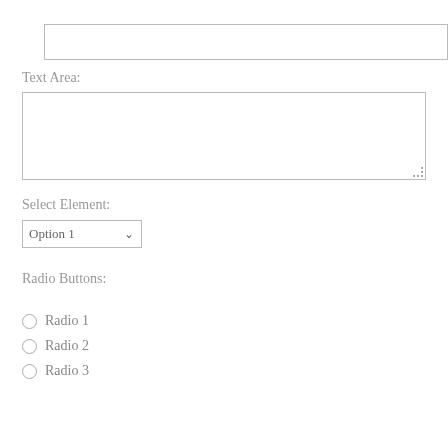[Figure (screenshot): A text input field (empty, bordered rectangle)]
Text Area:
[Figure (screenshot): A multi-line text area input field (empty, bordered rectangle with resize handle)]
Select Element:
[Figure (screenshot): A select dropdown element showing 'Option 1' with a chevron arrow]
Radio Buttons:
Radio 1
Radio 2
Radio 3